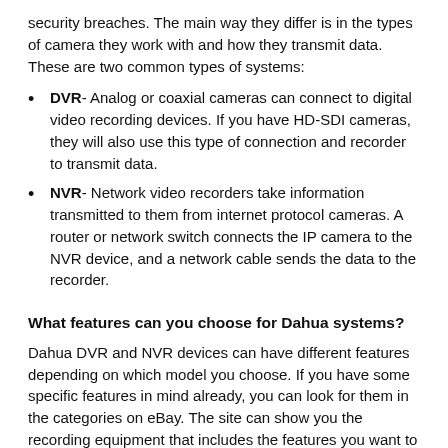security breaches. The main way they differ is in the types of camera they work with and how they transmit data. These are two common types of systems:
DVR- Analog or coaxial cameras can connect to digital video recording devices. If you have HD-SDI cameras, they will also use this type of connection and recorder to transmit data.
NVR- Network video recorders take information transmitted to them from internet protocol cameras. A router or network switch connects the IP camera to the NVR device, and a network cable sends the data to the recorder.
What features can you choose for Dahua systems?
Dahua DVR and NVR devices can have different features depending on which model you choose. If you have some specific features in mind already, you can look for them in the categories on eBay. The site can show you the recording equipment that includes the features you want to have at a minimum. Some common options you will discover are: